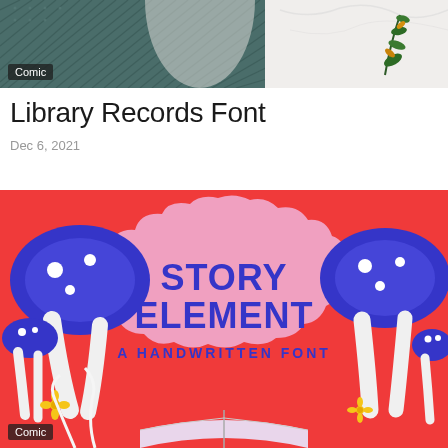[Figure (photo): Top partial image showing a decorative illustration with teal/dark teal patterned fabric or background on the left and a white marble surface with green and gold botanical leaves on the right. A dark label reading 'Comic' is in the bottom-left corner.]
Library Records Font
Dec 6, 2021
[Figure (illustration): Red background illustration promoting 'Story Element - A Handwritten Font'. Features a pink cloud-like shape in the center with bold blue handwritten text reading 'STORY ELEMENT' and below it 'A HANDWRITTEN FONT'. Blue and white illustrated mushrooms on left and right sides. Yellow flowers and an open book at the bottom. A dark label reading 'Comic' is in the bottom-left corner.]